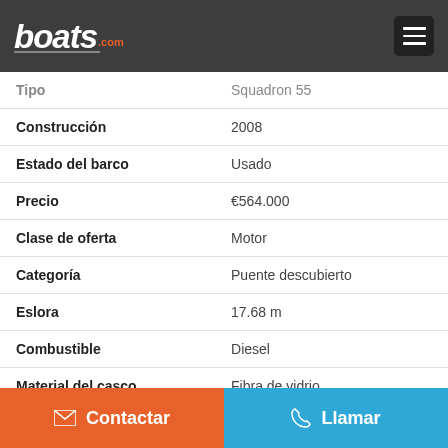boats.com
| Field | Value |
| --- | --- |
| Tipo | Squadron 55 |
| Construcción | 2008 |
| Estado del barco | Usado |
| Precio | €564.000 |
| Clase de oferta | Motor |
| Categoría | Puente descubierto |
| Eslora | 17.68 m |
| Combustible | Diesel |
| Material del casco | Fibra de vidrio |
| Ubicación de la embarcación | Malaga, España |
| Estado de Impuestos | Impuestos pagados |
Contactar | Llamar